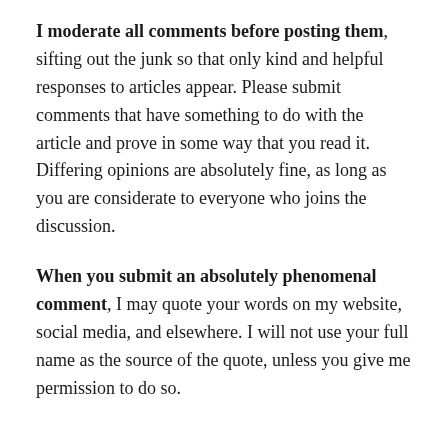I moderate all comments before posting them, sifting out the junk so that only kind and helpful responses to articles appear. Please submit comments that have something to do with the article and prove in some way that you read it. Differing opinions are absolutely fine, as long as you are considerate to everyone who joins the discussion.
When you submit an absolutely phenomenal comment, I may quote your words on my website, social media, and elsewhere. I will not use your full name as the source of the quote, unless you give me permission to do so.